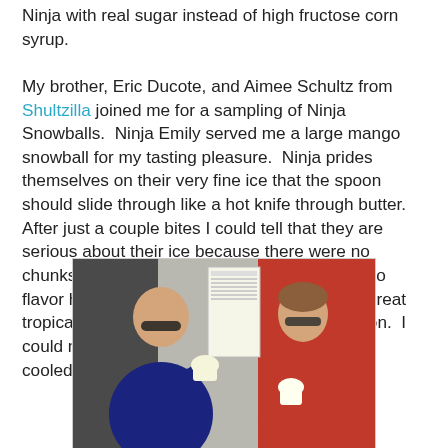Ninja with real sugar instead of high fructose corn syrup. My brother, Eric Ducote, and Aimee Schultz from Shultzilla joined me for a sampling of Ninja Snowballs.  Ninja Emily served me a large mango snowball for my tasting pleasure.  Ninja prides themselves on their very fine ice that the spoon should slide through like a hot knife through butter.  After just a couple bites I could tell that they are serious about their ice because there were no chunks to be found in my snowball.  The mango flavor highlighted the lush snow and added a great tropical summer feeling to the frozen concoction.  I could no longer tell how hot it was outside as I cooled down with the delicious Ninja snowball.
[Figure (photo): Two people standing outside in front of a red food truck. A man on the left wearing sunglasses and a dark blue polo shirt is eating from a snowball cup. A woman on the right wearing sunglasses and a red Ninja t-shirt is holding a snowball cup. A menu board is visible in the background.]